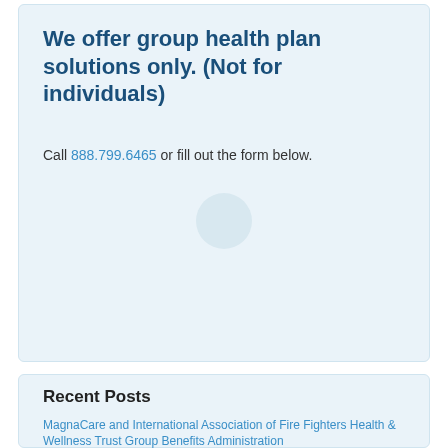We offer group health plan solutions only. (Not for individuals)
Call 888.799.6465 or fill out the form below.
[Figure (other): Light blue circular loading or decorative element in the center of the card]
Recent Posts
MagnaCare and International Association of Fire Fighters Health & Wellness Trust Group Benefits Administration